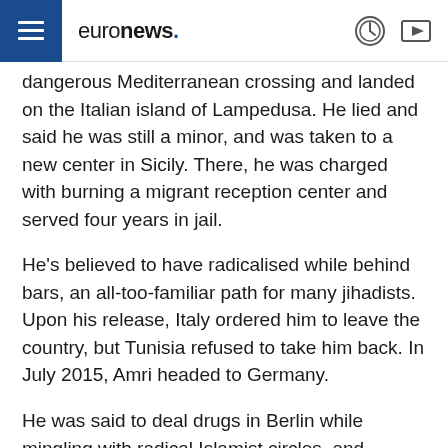euronews.
dangerous Mediterranean crossing and landed on the Italian island of Lampedusa. He lied and said he was still a minor, and was taken to a new center in Sicily. There, he was charged with burning a migrant reception center and served four years in jail.
He's believed to have radicalised while behind bars, an all-too-familiar path for many jihadists. Upon his release, Italy ordered him to leave the country, but Tunisia refused to take him back. In July 2015, Amri headed to Germany.
He was said to deal drugs in Berlin while mingling with radical Islamist circles, and eluding authorities by using six different identities.
Suspect in Berlin truck attack both sold drugs and